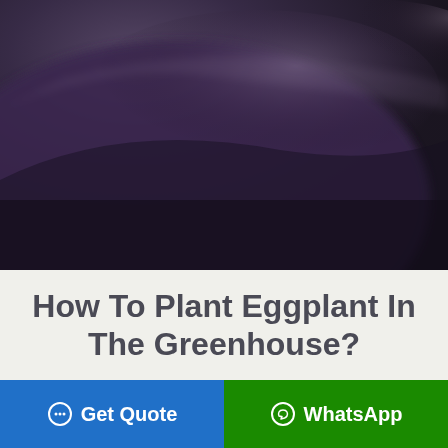[Figure (photo): Close-up blurred photograph of dark purple eggplant(s), showing the shiny surface with dark purple and near-black tones against a blurred background.]
How To Plant Eggplant In The Greenhouse?
Get Quote
WhatsApp